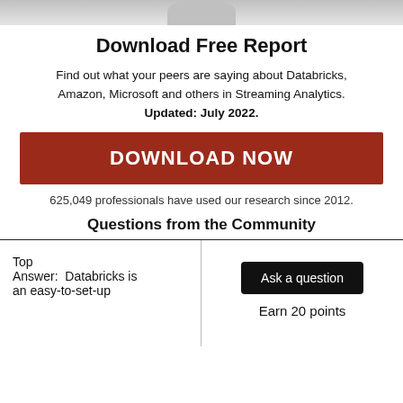[Figure (illustration): Partial circular image at top of page, gray gradient]
Download Free Report
Find out what your peers are saying about Databricks, Amazon, Microsoft and others in Streaming Analytics. Updated: July 2022.
DOWNLOAD NOW
625,049 professionals have used our research since 2012.
Questions from the Community
Top
Answer:  Databricks is an easy-to-set-up
Ask a question
Earn 20 points